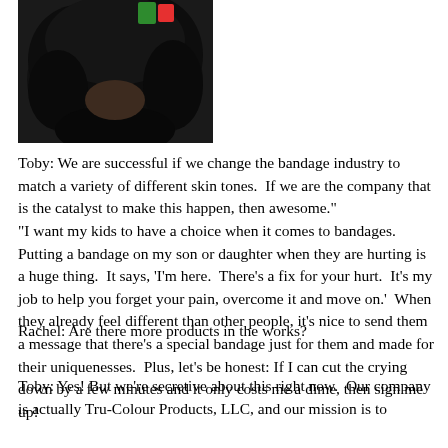[Figure (photo): Photo of a child with curly dark hair, with a green ribbon or bow visible at the top. Close-up, cropped at top of head.]
Toby: We are successful if we change the bandage industry to match a variety of different skin tones.  If we are the company that is the catalyst to make this happen, then awesome."
"I want my kids to have a choice when it comes to bandages.  Putting a bandage on my son or daughter when they are hurting is a huge thing.  It says, 'I'm here.  There's a fix for your hurt.  It's my job to help you forget your pain, overcome it and move on.'  When they already feel different than other people, it's nice to send them a message that there's a special bandage just for them and made for their uniquenesses.  Plus, let's be honest: If I can cut the crying down by a few minutes and it only costs me a dime, then sign me up!
Rachel: Are there more products in the works?
Toby: Yes! But we're secretive about this right now.  Our company is actually Tru-Colour Products, LLC, and our mission is to